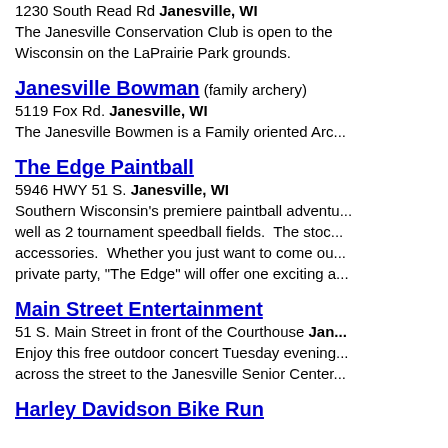1230 South Read Rd Janesville, WI
The Janesville Conservation Club is open to the Wisconsin on the LaPrairie Park grounds.
Janesville Bowman (family archery)
5119 Fox Rd. Janesville, WI
The Janesville Bowmen is a Family oriented Arc...
The Edge Paintball
5946 HWY 51 S. Janesville, WI
Southern Wisconsin's premiere paintball adventu... well as 2 tournament speedball fields.  The stoc... accessories.  Whether you just want to come ou... private party, "The Edge" will offer one exciting a...
Main Street Entertainment
51 S. Main Street in front of the Courthouse Jan...
Enjoy this free outdoor concert Tuesday evening... across the street to the Janesville Senior Center...
Harley Davidson Bike Run